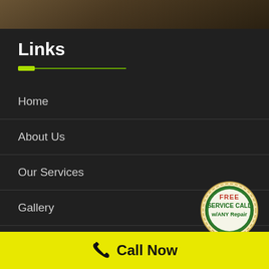[Figure (photo): Dark background image at the top, appears to be a ceiling or interior surface]
Links
Home
About Us
Our Services
Gallery
Contact Us
[Figure (illustration): Circular badge/seal with 'FREE SERVICE CALL w/ANY Repair' text in red and green on cream background with decorative border]
Call Now